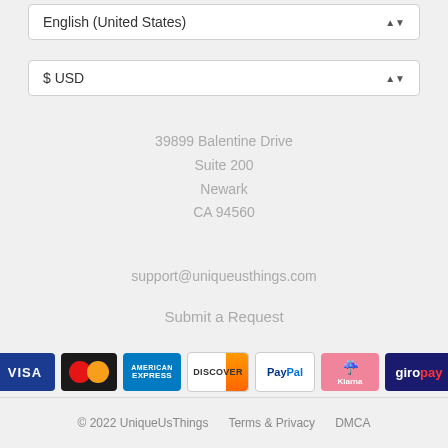English (United States)
$ USD
39899 Balentine Drive
Suite 200
Newark
CA 94560
support@uniqueusthings.com
Submit a Request
[Figure (other): Payment method logos: VISA, Mastercard, American Express, Discover, PayPal, Klarna, Giropay]
© 2022 UniqueUsThings   Terms & Privacy   DMCA